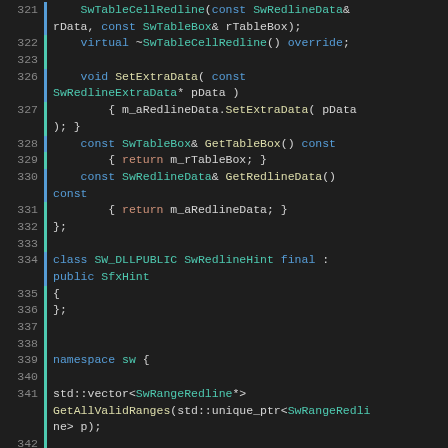[Figure (screenshot): Source code screenshot showing C++ code lines 321-347 with syntax highlighting on dark background. Code includes SwTableCellRedline class methods, SwRedlineHint class, namespace sw, and a vim modeline comment.]